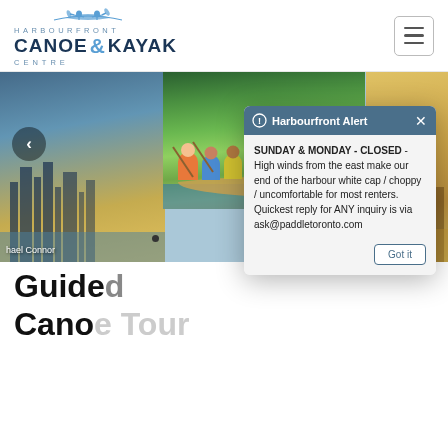[Figure (logo): Harbourfront Canoe & Kayak Centre logo with canoe illustration]
[Figure (photo): Website screenshot showing a group of people kayaking in a canoe on a green waterway, with city skyline panels on left and right sides, and a navigation arrow on the left]
[Figure (screenshot): Alert popup modal titled 'Harbourfront Alert' with message about SUNDAY & MONDAY - CLOSED - High winds from the east make our end of the harbour white cap / choppy / uncomfortable for most renters. Quickest reply for ANY inquiry is via ask@paddletoronto.com, with a 'Got it' button]
hael Connor
Guide
Canoe Tour